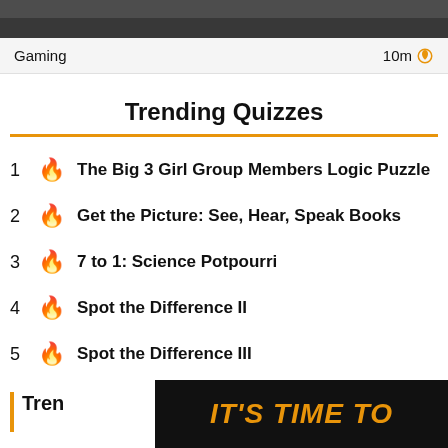[Figure (photo): Top banner image, partially visible, dark tones]
Gaming   10m
Trending Quizzes
1 🔥 The Big 3 Girl Group Members Logic Puzzle
2 🔥 Get the Picture: See, Hear, Speak Books
3 🔥 7 to 1: Science Potpourri
4 🔥 Spot the Difference II
5 🔥 Spot the Difference III
Tren
[Figure (screenshot): Advertisement banner with text IT'S TIME TO in bold orange on black background]